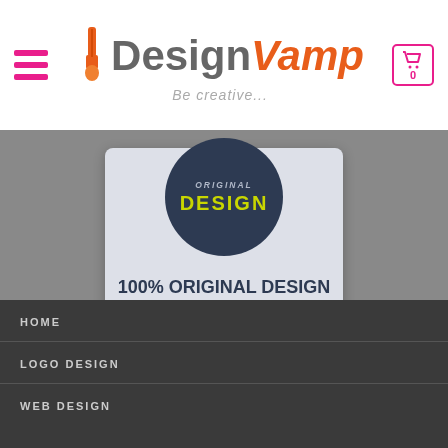[Figure (logo): DesignVamp logo with paint brush icon, text 'DesignVamp' and tagline 'Be creative...']
[Figure (illustration): Dark navy circle badge with text 'ORIGINAL DESIGN' in yellow and grey on light blue-grey card background]
100% ORIGINAL DESIGN
Ready-to-use high quality source files
HOME
LOGO DESIGN
WEB DESIGN